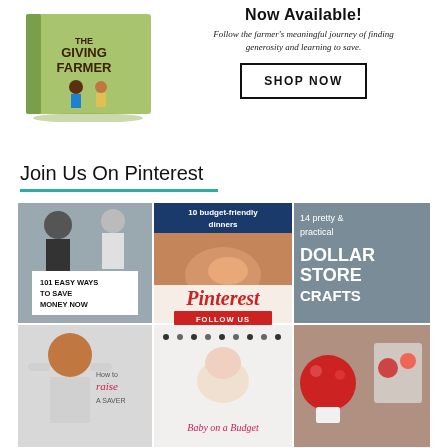[Figure (illustration): Book cover for 'The Giving Farmer' with illustrated characters on a green background]
Now Available!
Follow the farmer's meaningful journey of finding generosity and learning to save.
SHOP NOW
Join Us On Pinterest
[Figure (photo): Pinterest board collage showing: '101 Easy Ways To Save Money Now', '10 budget-friendly dinners', '14 pretty & practical Dollar Store Crafts', 'How to raise a saver', 'Baby on a Budget', and dollar store crafts photos. Includes Pinterest logo and FOLLOW US button.]